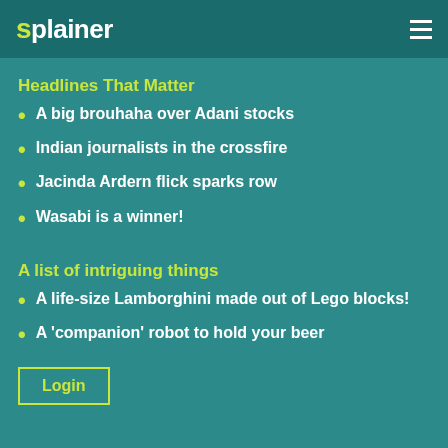splainer
Headlines That Matter
A big brouhaha over Adani stocks
Indian journalists in the crossfire
Jacinda Ardern flick sparks row
Wasabi is a winner!
A list of intriguing things
A life-size Lamborghini made out of Lego blocks!
A 'companion' robot to hold your beer
Login